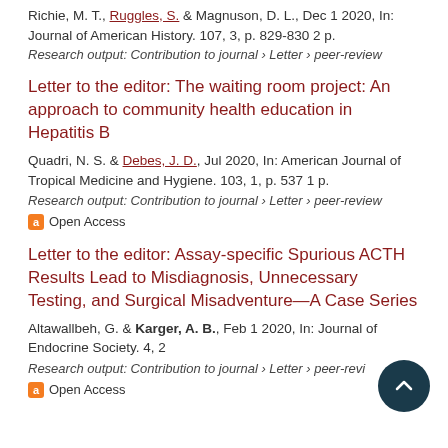Richie, M. T., Ruggles, S. & Magnuson, D. L., Dec 1 2020, In: Journal of American History. 107, 3, p. 829-830 2 p.
Research output: Contribution to journal › Letter › peer-review
Letter to the editor: The waiting room project: An approach to community health education in Hepatitis B
Quadri, N. S. & Debes, J. D., Jul 2020, In: American Journal of Tropical Medicine and Hygiene. 103, 1, p. 537 1 p.
Research output: Contribution to journal › Letter › peer-review
Open Access
Letter to the editor: Assay-specific Spurious ACTH Results Lead to Misdiagnosis, Unnecessary Testing, and Surgical Misadventure—A Case Series
Altawallbeh, G. & Karger, A. B., Feb 1 2020, In: Journal of Endocrine Society. 4, 2
Research output: Contribution to journal › Letter › peer-review
Open Access